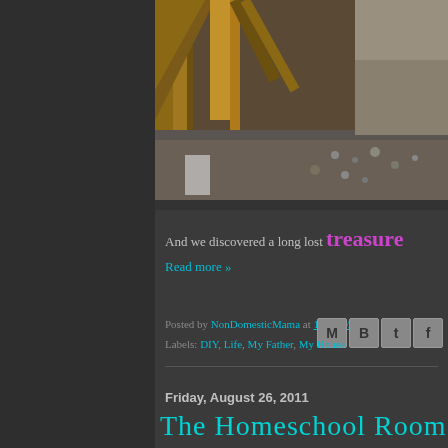[Figure (photo): Photo of attic/crawl space showing wooden beams and insulation/gravel on floor]
And we discovered a long lost treasure
Read more »
Posted by NonDomesticMama at 1:11 PM
Labels: DIY, Life, My Father, My House
Friday, August 26, 2011
The Homeschool Room